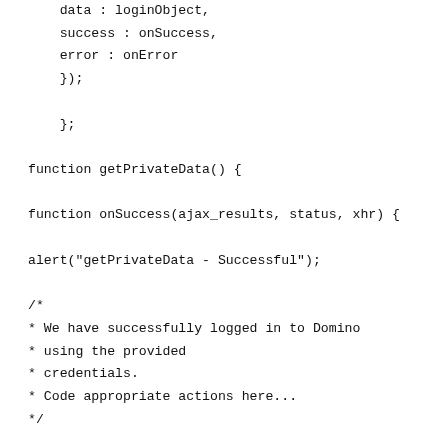data : loginObject,
    success : onSuccess,
    error : onError
    });

    };

function getPrivateData() {

function onSuccess(ajax_results, status, xhr) {

alert("getPrivateData - Successful");

/*
* We have successfully logged in to Domino
* using the provided
* credentials.
* Code appropriate actions here...
*/

};

function onError(xhr, status, errorThrown) {

if (status == "parsererror") {

alert("getPrivateData - Error Authentication");

/*
* An authentication error has occurred.
* Code appropriate actions here...
*/